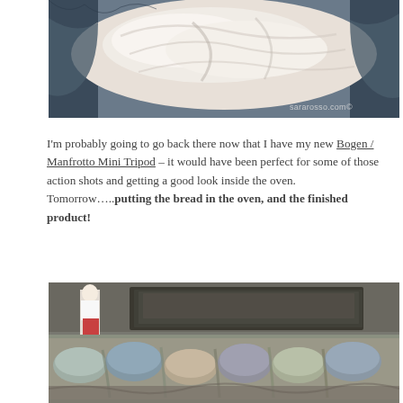[Figure (photo): Close-up photo of bread dough resting in a cloth-lined bowl or basket, with a watermark 'sararosso.com©' in the lower right]
I'm probably going to go back there now that I have my new Bogen / Manfrotto Mini Tripod – it would have been perfect for some of those action shots and getting a good look inside the oven. Tomorrow…..putting the bread in the oven, and the finished product!
[Figure (photo): Photo of bread loaves arranged on cloth-covered trays in a bakery, with a baker visible in the background near an oven]